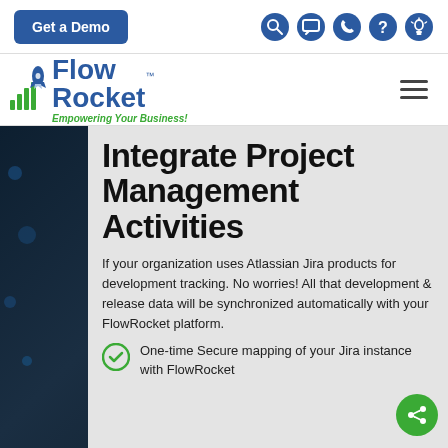Get a Demo
[Figure (logo): FlowRocket logo with rocket icon and tagline 'Empowering Your Business!']
Integrate Project Management Activities
If your organization uses Atlassian Jira products for development tracking. No worries! All that development & release data will be synchronized automatically with your FlowRocket platform.
One-time Secure mapping of your Jira instance with FlowRocket